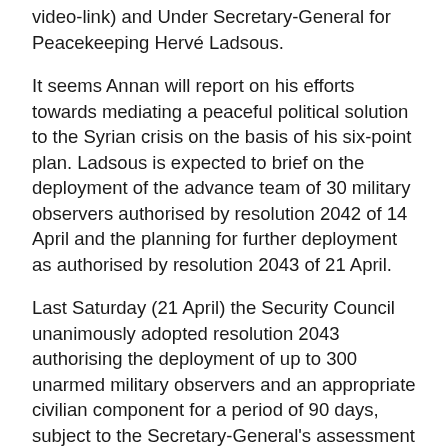video-link) and Under Secretary-General for Peacekeeping Hervé Ladsous.
It seems Annan will report on his efforts towards mediating a peaceful political solution to the Syrian crisis on the basis of his six-point plan. Ladsous is expected to brief on the deployment of the advance team of 30 military observers authorised by resolution 2042 of 14 April and the planning for further deployment as authorised by resolution 2043 of 21 April.
Last Saturday (21 April) the Security Council unanimously adopted resolution 2043 authorising the deployment of up to 300 unarmed military observers and an appropriate civilian component for a period of 90 days, subject to the Secretary-General's assessment that the situation on the ground is sufficiently safe. Annan has said the adoption of resolution 2043 was a pivotal moment for Syria's stabilization and called on all forces to cease violence